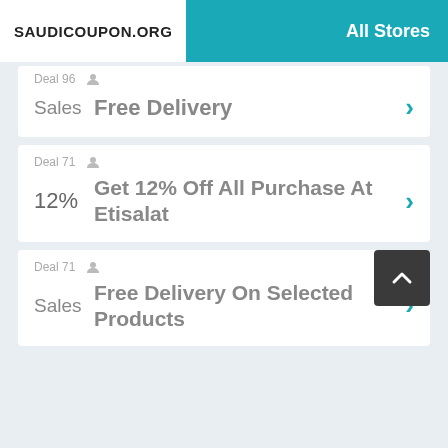SAUDICOUPON.ORG  All Stores
Deal 96  Sales  Free Delivery
Deal 71  12%  Get 12% Off All Purchase At Etisalat
Deal 71  Sales  Free Delivery On Selected Products